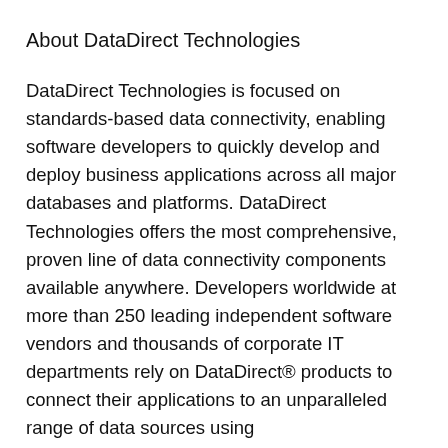About DataDirect Technologies
DataDirect Technologies is focused on standards-based data connectivity, enabling software developers to quickly develop and deploy business applications across all major databases and platforms. DataDirect Technologies offers the most comprehensive, proven line of data connectivity components available anywhere. Developers worldwide at more than 250 leading independent software vendors and thousands of corporate IT departments rely on DataDirect® products to connect their applications to an unparalleled range of data sources using